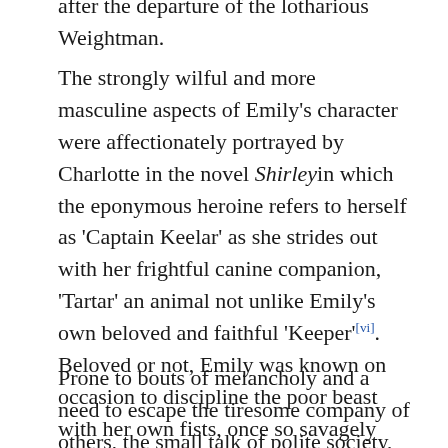after the departure of the lotharious Weightman.
The strongly wilful and more masculine aspects of Emily's character were affectionately portrayed by Charlotte in the novel Shirley in which the eponymous heroine refers to herself as 'Captain Keelar' as she strides out with her frightful canine companion, 'Tartar' an animal not unlike Emily's own beloved and faithful 'Keeper'[vi]. Beloved or not, Emily was known on occasion to discipline the poor beast with her own fists, once so savagely that both the dogs eyes and her own hands required bathing afterwards to reduce the swelling[vii].
Prone to bouts of melancholy and a need to escape the tiresome company of others, the small talk of polite society, for the solitude of her beloved moors,